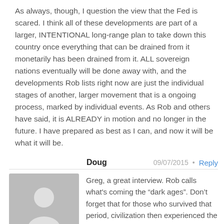As always, though, I question the view that the Fed is scared. I think all of these developments are part of a larger, INTENTIONAL long-range plan to take down this country once everything that can be drained from it monetarily has been drained from it. ALL sovereign nations eventually will be done away with, and the developments Rob lists right now are just the individual stages of another, larger movement that is a ongoing process, marked by individual events. As Rob and others have said, it is ALREADY in motion and no longer in the future. I have prepared as best as I can, and now it will be what it will be.
Doug 09/07/2015 Reply
Greg, a great interview. Rob calls what's coming the “dark ages”. Don’t forget that for those who survived that period, civilization then experienced the Renaissance. Maybe that is when honest money comes full circle. Fear not. Doug
Diane D 09/07/2015 Reply